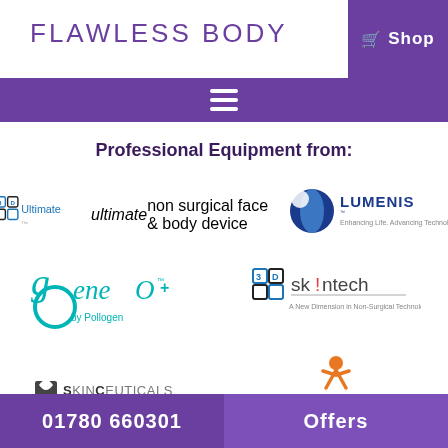FLAWLESS BODY
[Figure (logo): Flawless Body header logo with Shop cart icon on purple background]
[Figure (logo): 3D Ultimate - The ultimate non surgical face & body device logo]
[Figure (logo): LUMENIS - Enhancing Life. Advancing Technology. logo]
[Figure (logo): geneo+ by Pollogen logo in teal]
[Figure (logo): 3D skintech - A New Dimension in Non-Surgical Technology logo]
[Figure (logo): SkinCeuticals Advanced Professional Skincare logo]
[Figure (logo): FIT3D - Visualize a healthier you logo with orange figure]
01780 660301 | Offers